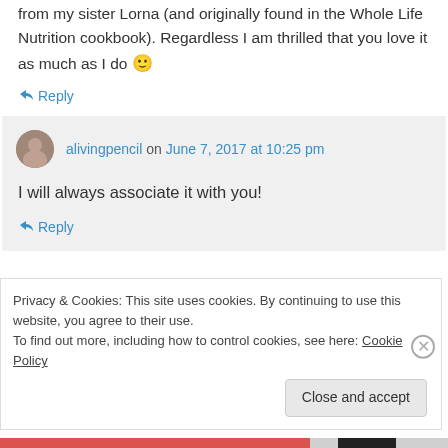from my sister Lorna (and originally found in the Whole Life Nutrition cookbook). Regardless I am thrilled that you love it as much as I do 🙂
↪ Reply
alivingpencil on June 7, 2017 at 10:25 pm
I will always associate it with you!
↪ Reply
Privacy & Cookies: This site uses cookies. By continuing to use this website, you agree to their use.
To find out more, including how to control cookies, see here: Cookie Policy
Close and accept